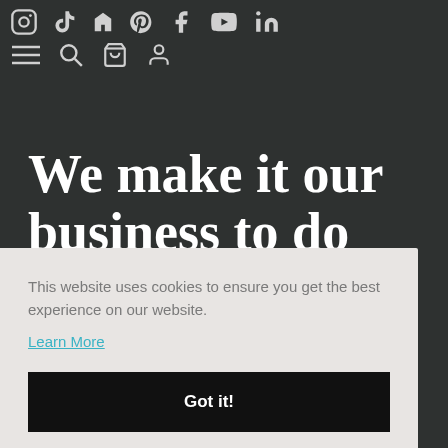[Figure (screenshot): Website navigation bar with social media icons (Instagram, TikTok, Houzz, Pinterest, Facebook, YouTube, LinkedIn) and utility icons (hamburger menu, search, cart, account) on a dark background.]
We make it our business to do good.
This website uses cookies to ensure you get the best experience on our website.
Learn More
Got it!